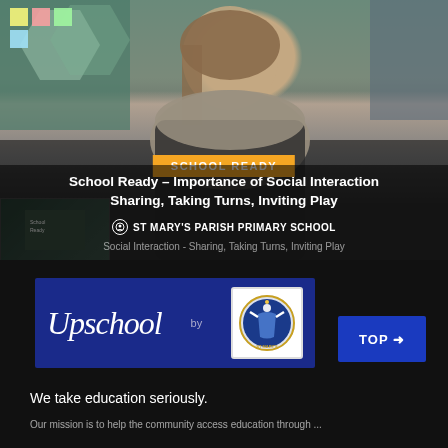[Figure (screenshot): Video thumbnail showing a woman teacher in a classroom setting with educational materials visible in background]
SCHOOL READY
School Ready – Importance of Social Interaction Sharing, Taking Turns, Inviting Play
ST MARY'S PARISH PRIMARY SCHOOL
Social Interaction - Sharing, Taking Turns, Inviting Play
[Figure (logo): Upschool by St Mary's Parish Primary School logo banner on dark blue background]
TOP ➜
We take education seriously.
Our mission is to help the community access education through ...